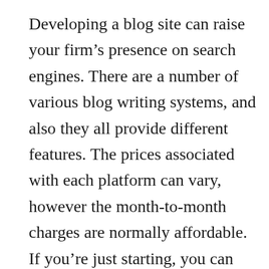Developing a blog site can raise your firm’s presence on search engines. There are a number of various blog writing systems, and also they all provide different features. The prices associated with each platform can vary, however the month-to-month charges are normally affordable. If you’re just starting, you can also use a complimentary blogging system that will certainly care for all the upkeep for you. As soon as you have actually created a blog site, you can start including